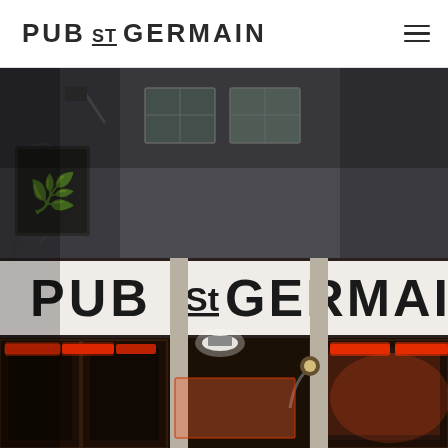PUB St GERMAIN
[Figure (photo): Nighttime exterior photograph of Pub St Germain restaurant/bar storefront. Shows the building facade with a large illuminated white sign reading 'PUB St GERMAIN' in bold letters. Red heat lamps are visible under the awning, a wall-mounted gooseneck lamp glows white, and there are iron decorative elements on the left side of the building. The storefront has dark wooden framing with large windows.]